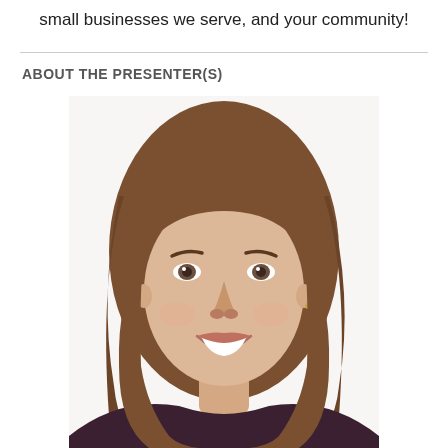small businesses we serve, and your community!
ABOUT THE PRESENTER(S)
[Figure (photo): Headshot of a smiling young woman with long straight brown hair, looking directly at the camera, against a white background, wearing a dark top.]